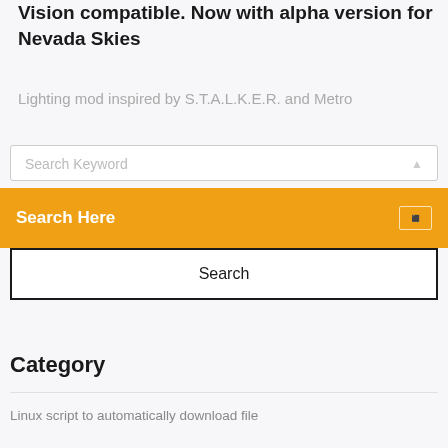Vision compatible. Now with alpha version for Nevada Skies
Lighting mod inspired by S.T.A.L.K.E.R. and Metro
Search Keyword
Search Here
Search
Category
Linux script to automatically download file